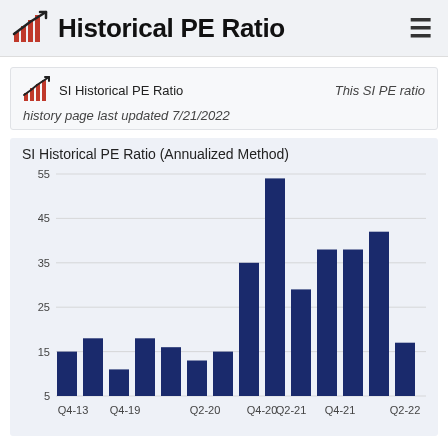Historical PE Ratio
SI Historical PE Ratio   This SI PE ratio
history page last updated 7/21/2022
[Figure (bar-chart): SI Historical PE Ratio (Annualized Method)]